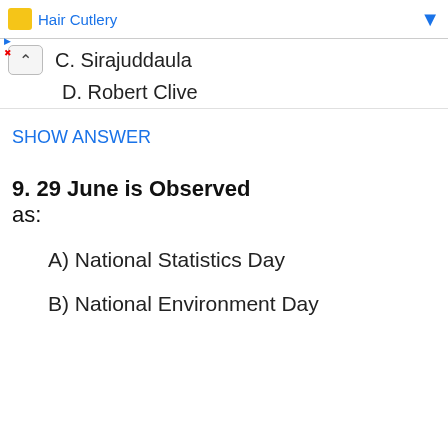Hair Cutlery
C. Sirajuddaula
D. Robert Clive
SHOW ANSWER
9. 29 June is Observed as:
A) National Statistics Day
B) National Environment Day